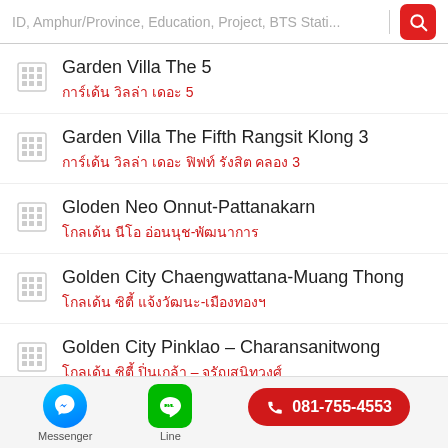ID, Amphur/Province, Education, Project, BTS Stati...
Garden Villa The 5 | การ์เด้น วิลล่า เดอะ 5
Garden Villa The Fifth Rangsit Klong 3 | การ์เด้น วิลล่า เดอะ ฟิฟท์ รังสิต คลอง 3
Gloden Neo Onnut-Pattanakarn | โกลเด้น นีโอ อ่อนนุช-พัฒนาการ
Golden City Chaengwattana-Muang Thong | โกลเด้น ซิตี้ แจ้งวัฒนะ-เมืองทองฯ
Golden City Pinklao – Charansanitwong | โกลเด้น ซิตี้ ปิ่นเกล้า – จรัญสนิทวงศ์
Messenger | Line | 081-755-4553